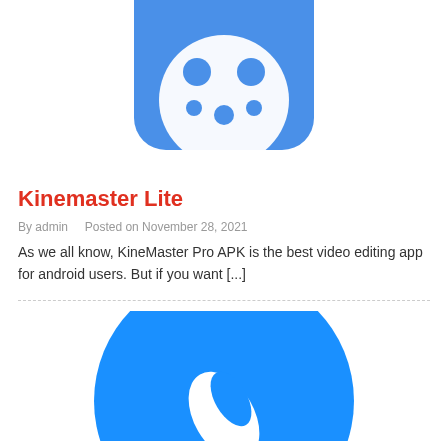[Figure (logo): Blue rounded square app icon with white film/cookie dots design, partially cropped at top]
Kinemaster Lite
By admin   Posted on November 28, 2021
As we all know, KineMaster Pro APK is the best video editing app for android users. But if you want [...]
[Figure (logo): Blue circle with white play/edit symbol, partially cropped at bottom]